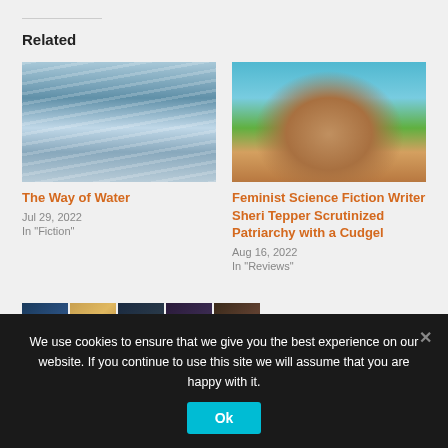Related
[Figure (photo): Water rapids / flowing white water stream photo]
The Way of Water
Jul 29, 2022
In "Fiction"
[Figure (illustration): Illustrated portrait of a woman with red hair and red foliage background — cover art for Feminist Science Fiction Writer Sheri Tepper]
Feminist Science Fiction Writer Sheri Tepper Scrutinized Patriarchy with a Cudgel
Aug 16, 2022
In "Reviews"
[Figure (photo): Row of book covers partially visible at bottom of page]
We use cookies to ensure that we give you the best experience on our website. If you continue to use this site we will assume that you are happy with it.